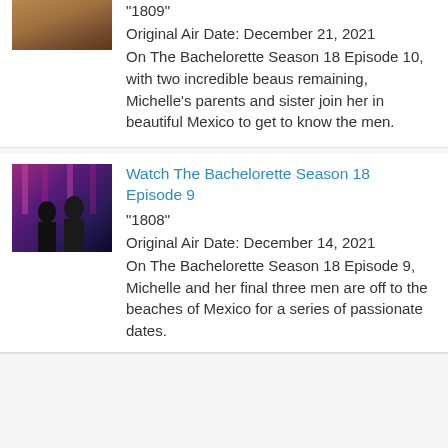"1809"
Original Air Date: December 21, 2021
On The Bachelorette Season 18 Episode 10, with two incredible beaus remaining, Michelle's parents and sister join her in beautiful Mexico to get to know the men.
[Figure (photo): Screenshot from The Bachelorette Season 18 Episode 9 showing people standing in front of purple/pink lit background]
Watch The Bachelorette Season 18 Episode 9
"1808"
Original Air Date: December 14, 2021
On The Bachelorette Season 18 Episode 9, Michelle and her final three men are off to the beaches of Mexico for a series of passionate dates.